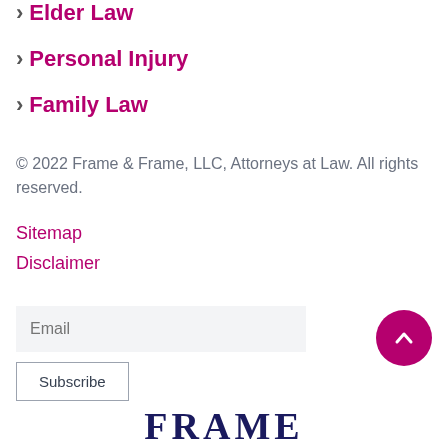Elder Law
Personal Injury
Family Law
© 2022 Frame & Frame, LLC, Attorneys at Law. All rights reserved.
Sitemap
Disclaimer
Email
Subscribe
[Figure (other): Scroll-to-top button: magenta circle with upward chevron arrow]
FRAME